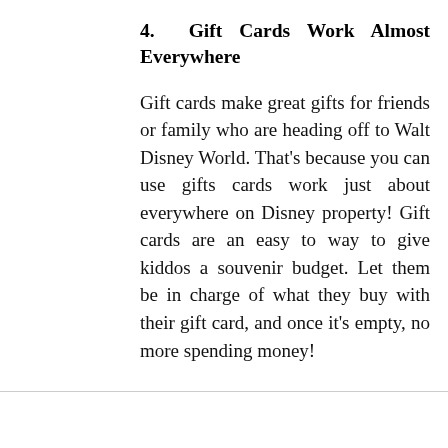4. Gift Cards Work Almost Everywhere
Gift cards make great gifts for friends or family who are heading off to Walt Disney World. That's because you can use gifts cards work just about everywhere on Disney property! Gift cards are an easy to way to give kiddos a souvenir budget. Let them be in charge of what they buy with their gift card, and once it's empty, no more spending money!